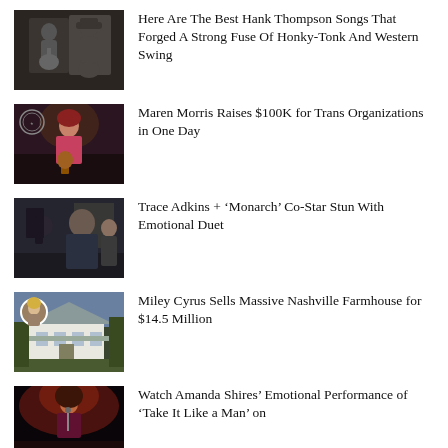[Figure (photo): Black and white photo of Hank Thompson playing guitar with another musician in a cowboy hat]
Here Are The Best Hank Thompson Songs That Forged A Strong Fuse Of Honky-Tonk And Western Swing
[Figure (photo): Maren Morris performing on stage with a guitar, red hair, warm stage lighting]
Maren Morris Raises $100K for Trans Organizations in One Day
[Figure (photo): Trace Adkins with co-star from Monarch TV show, two people in a dim indoor setting]
Trace Adkins + ‘Monarch’ Co-Star Stun With Emotional Duet
[Figure (photo): White farmhouse with metal roof, aerial/exterior view, small circular inset of blonde woman]
Miley Cyrus Sells Massive Nashville Farmhouse for $14.5 Million
[Figure (photo): Amanda Shires performing on stage with dramatic red/orange lighting]
Watch Amanda Shires’ Emotional Performance of ‘Take It Like a Man’ on